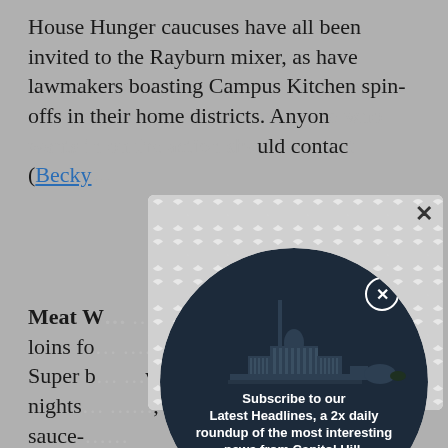House Hunger caucuses have all been invited to the Rayburn mixer, as have lawmakers boasting Campus Kitchen spin-offs in their home districts. Anyone who wants in on the action should contact (Becky...
Meat W... one's loins fo... e Super B... ven nights... , sauce-... barbecue...
[Figure (screenshot): Modal popup overlay with decorative circular pattern background and a dark navy circular modal containing a newsletter subscription form. Includes Capitol Hill skyline silhouette, subscribe text, email input, and Sign Me Up button.]